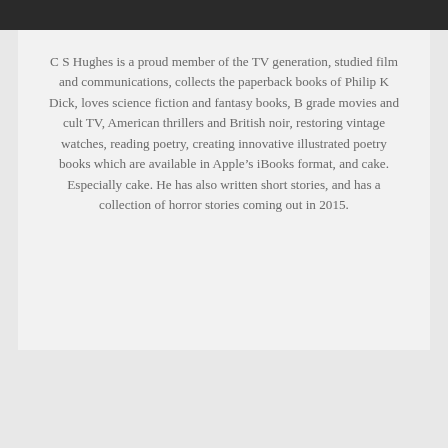C S Hughes is a proud member of the TV generation, studied film and communications, collects the paperback books of Philip K Dick, loves science fiction and fantasy books, B grade movies and cult TV, American thrillers and British noir, restoring vintage watches, reading poetry, creating innovative illustrated poetry books which are available in Apple's iBooks format, and cake. Especially cake. He has also written short stories, and has a collection of horror stories coming out in 2015.